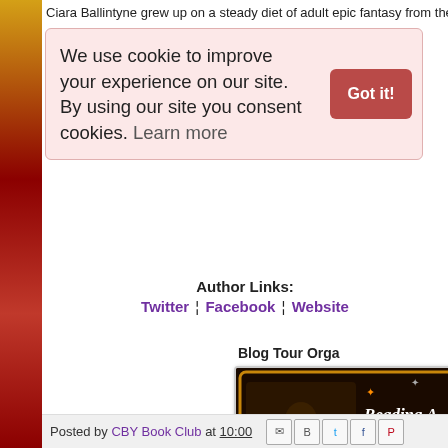Ciara Ballintyne grew up on a steady diet of adult epic fantasy from the
We use cookie to improve your experience on our site. By using our site you consent cookies. Learn more
Got it!
Author Links:
Twitter | Facebook | Website
Blog Tour Orga
[Figure (photo): Reading Addicts Virtual Tour promotional image with a woman reading a glowing book against a dark background, gold star decorations and orange/gold border]
Posted by CBY Book Club at 10:00